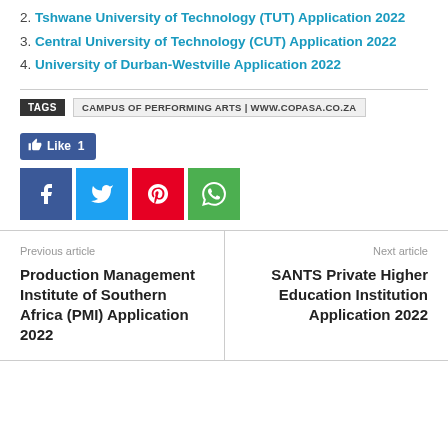2. Tshwane University of Technology (TUT) Application 2022
3. Central University of Technology (CUT) Application 2022
4. University of Durban-Westville Application 2022
TAGS   CAMPUS OF PERFORMING ARTS | WWW.COPASA.CO.ZA
[Figure (other): Like button and social share icons: Facebook Like (1), Facebook share, Twitter share, Pinterest share, WhatsApp share]
Previous article
Production Management Institute of Southern Africa (PMI) Application 2022
Next article
SANTS Private Higher Education Institution Application 2022